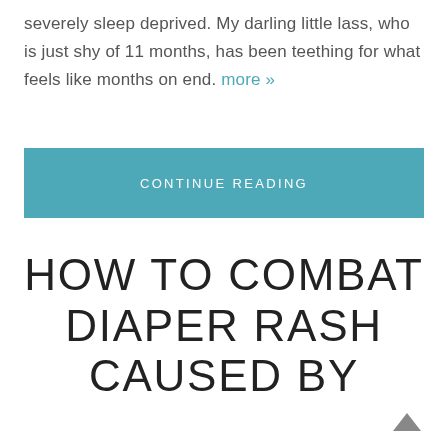severely sleep deprived. My darling little lass, who is just shy of 11 months, has been teething for what feels like months on end. more »
CONTINUE READING
HOW TO COMBAT DIAPER RASH CAUSED BY